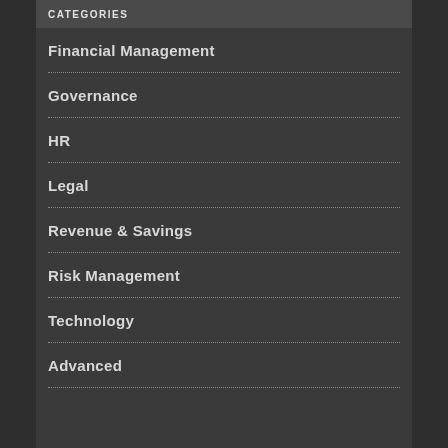CATEGORIES
Financial Management
Governance
HR
Legal
Revenue & Savings
Risk Management
Technology
Advanced